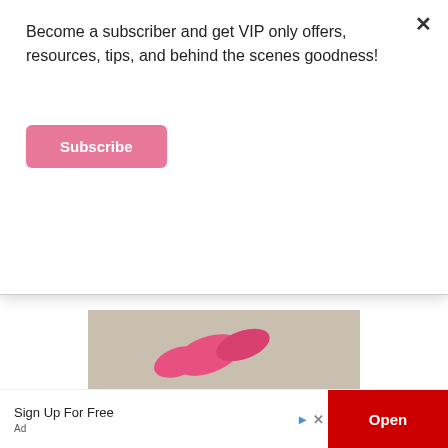Become a subscriber and get VIP only offers, resources, tips, and behind the scenes goodness!
Subscribe
[Figure (photo): Person wearing a long pink dress walking on cobblestone street between stone walls]
PREGNANCY   TRAVEL
A Trimester by Trimester Guide to Traveling while Pregnant
[Figure (photo): Pink dumbbells on a stone or concrete surface]
Sign Up For Free
Ad
Open